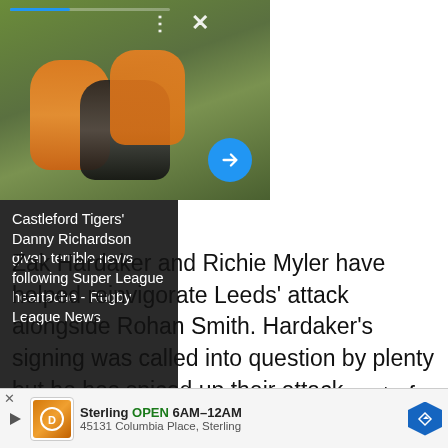[Figure (photo): Rugby league match photo showing players tackling on a grass field, with orange and black kit players involved in a tackle]
Castleford Tigers' Danny Richardson given terrible news following Super League heartache - Rugby League News
Zak Hardaker and Richie Myler have helped reinvigorate Leeds' attack alongside Rohan Smith. Hardaker's signing was called into question by plenty but he has spiced up their attack magnificently with direct running and pushing up around t of a seriou